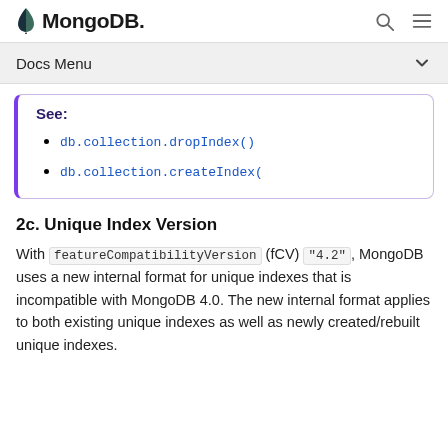MongoDB
Docs Menu
db.collection.dropIndex()
db.collection.createIndex(
2c. Unique Index Version
With featureCompatibilityVersion (fCV) "4.2", MongoDB uses a new internal format for unique indexes that is incompatible with MongoDB 4.0. The new internal format applies to both existing unique indexes as well as newly created/rebuilt unique indexes.